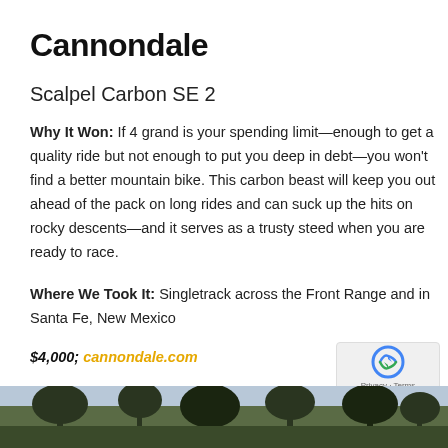Cannondale
Scalpel Carbon SE 2
Why It Won: If 4 grand is your spending limit—enough to get a quality ride but not enough to put you deep in debt—you won't find a better mountain bike. This carbon beast will keep you out ahead of the pack on long rides and can suck up the hits on rocky descents—and it serves as a trusty steed when you are ready to race.
Where We Took It: Singletrack across the Front Range and in Santa Fe, New Mexico
$4,000; cannondale.com
[Figure (photo): Outdoor photo showing trees/nature scene, partially visible at bottom of page]